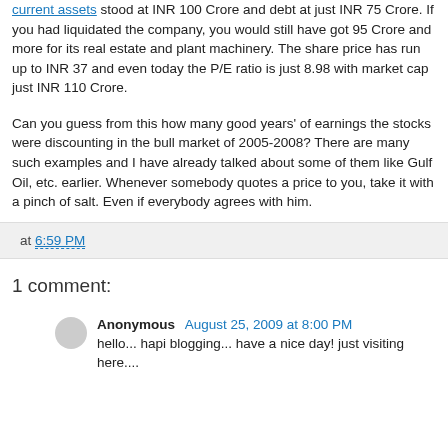current assets stood at INR 100 Crore and debt at just INR 75 Crore. If you had liquidated the company, you would still have got 95 Crore and more for its real estate and plant machinery. The share price has run up to INR 37 and even today the P/E ratio is just 8.98 with market cap just INR 110 Crore.
Can you guess from this how many good years' of earnings the stocks were discounting in the bull market of 2005-2008? There are many such examples and I have already talked about some of them like Gulf Oil, etc. earlier. Whenever somebody quotes a price to you, take it with a pinch of salt. Even if everybody agrees with him.
at 6:59 PM
1 comment:
Anonymous August 25, 2009 at 8:00 PM
hello... hapi blogging... have a nice day! just visiting here....